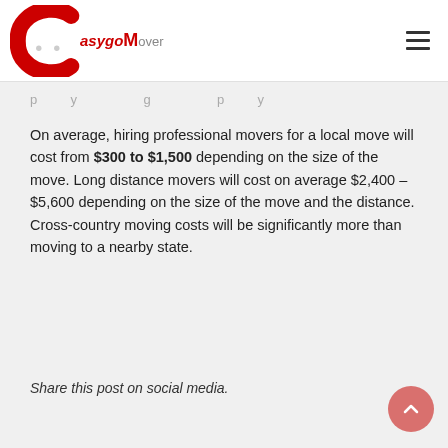EasygoMover logo and navigation
p...y...g...p...y (truncated continuation)
On average, hiring professional movers for a local move will cost from $300 to $1,500 depending on the size of the move. Long distance movers will cost on average $2,400 – $5,600 depending on the size of the move and the distance. Cross-country moving costs will be significantly more than moving to a nearby state.
Share this post on social media.